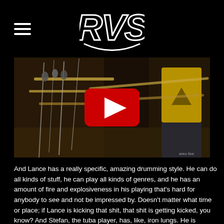RVS logo with hamburger menu
[Figure (screenshot): Video thumbnail showing brass instrument players (trombonists) in a studio session with microphones, with a YouTube play button overlay in the center.]
And Lance has a really specific, amazing drumming style. He can do all kinds of stuff, he can play all kinds of genres, and he has an amount of fire and explosiveness in his playing that's hard for anybody to see and not be impressed by. Doesn't matter what time or place; if Lance is kicking that shit, that shit is getting kicked, you know? And Stefan, the tuba player, has, like, iron lungs. He is playing the whole time, like an electric bass player, except every note he played had a breath behind it. He can't just look around and make faces at the audience. Or dance